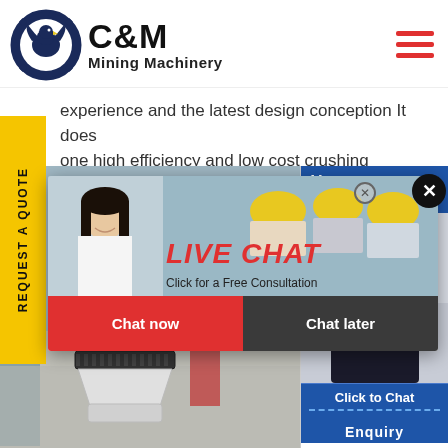[Figure (logo): C&M Mining Machinery logo with eagle/gear icon in navy blue circle]
C&M Mining Machinery
experience and the latest design conception It does one high efficiency and low cost crushing chine
[Figure (photo): Live chat popup overlay with workers in yellow helmets, female worker, LIVE CHAT text, Chat now and Chat later buttons]
[Figure (photo): Industrial cone crusher machinery photo background]
[Figure (photo): Right side chat widget with headset woman, Hours online, Click to Chat, Enquiry text]
REQUEST A QUOTE
LIVE CHAT
Click for a Free Consultation
Chat now
Chat later
Hours
line
Click to Chat
Enquiry